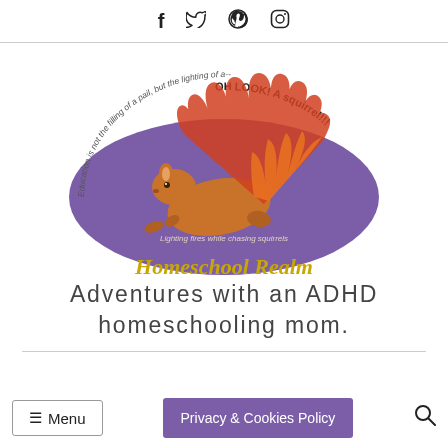Social media icons: Facebook, Twitter, Pinterest, Instagram
[Figure (logo): Homeschool Realm logo: a purple oval with a cartoon squirrel with a flaming tail leaping across it. Curved text around the top reads 'Education is not the filling of a pail, but the lighting of a--OH LOOK! A squirrel!!!' and italic text inside reads 'Lighting fires while chasing squirrels'. Below the oval, bold yellow/gold text reads 'Homeschool Realm'.]
Adventures with an ADHD homeschooling mom.
☰ Menu | Privacy & Cookies Policy | 🔍